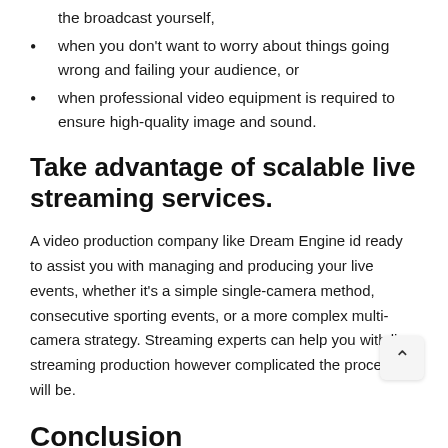the broadcast yourself,
when you don't want to worry about things going wrong and failing your audience, or
when professional video equipment is required to ensure high-quality image and sound.
Take advantage of scalable live streaming services.
A video production company like Dream Engine id ready to assist you with managing and producing your live events, whether it's a simple single-camera method, consecutive sporting events, or a more complex multi-camera strategy. Streaming experts can help you with live streaming production however complicated the process will be.
Conclusion